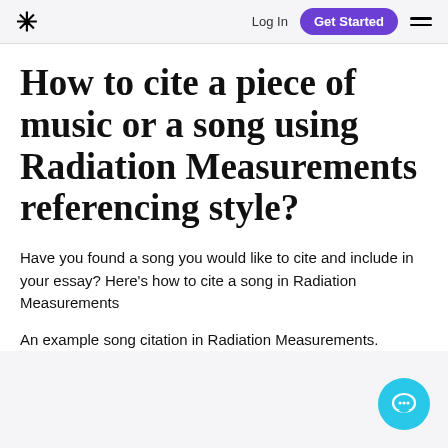* Log In  Get Started  ☰
How to cite a piece of music or a song using Radiation Measurements referencing style?
Have you found a song you would like to cite and include in your essay? Here's how to cite a song in Radiation Measurements
An example song citation in Radiation Measurements.